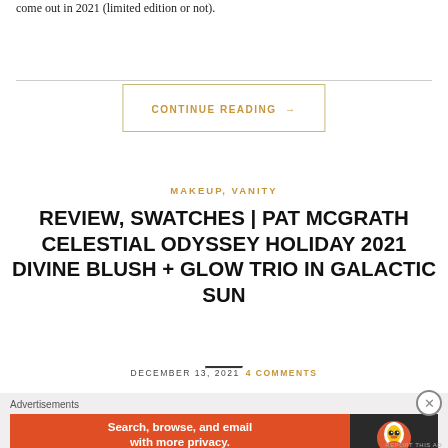come out in 2021 (limited edition or not).
CONTINUE READING →
MAKEUP, VANITY
REVIEW, SWATCHES | PAT MCGRATH CELESTIAL ODYSSEY HOLIDAY 2021 DIVINE BLUSH + GLOW TRIO IN GALACTIC SUN
DECEMBER 13, 2021   4 COMMENTS
Advertisements
[Figure (screenshot): DuckDuckGo advertisement banner: orange left panel with text 'Search, browse, and email with more privacy. All in One Free App' and dark right panel with DuckDuckGo logo and name.]